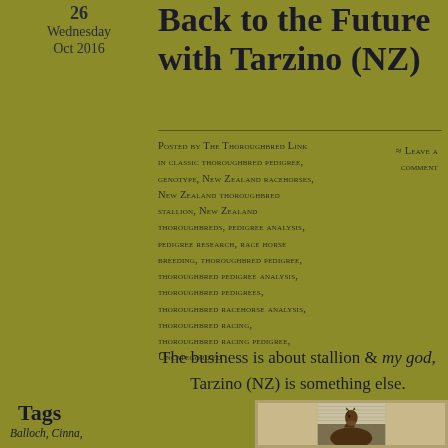26 Wednesday Oct 2016
Back to the Future with Tarzino (NZ)
Posted by The Thoroughbred Link in classic thoroughbred pedigree, genotype, New Zealand racehorses, New Zealand thoroughbred stallion, New Zealand thoroughbreds, pedigree analysis, pedigree research, race horse breeding, thoroughbred pedigree, thoroughbred pedigree analysis, thoroughbred pedigrees, thoroughbred racehorse analysis, thoroughbred racing, thoroughbred racing pedigree, Uncategorized
≈ Leave a comment
The business is about stallion & my god, Tarzino (NZ) is something else.
Tags
Balloch, Cinna,
[Figure (photo): Photo of a horse (Tarzino NZ) looking over a stable door or fence, brown coat, taken from slightly below, with a building structure visible in the background.]